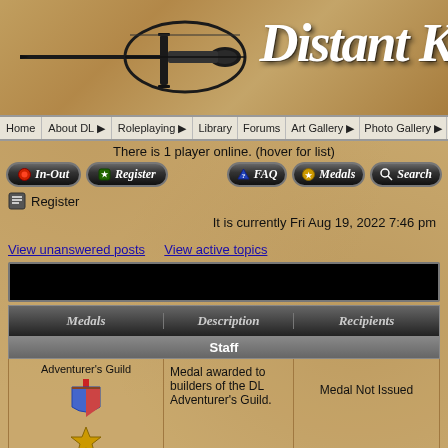[Figure (screenshot): Header banner with sword illustration and 'Distant K...' calligraphic title on parchment background]
Home | About DL | Roleplaying | Library | Forums | Art Gallery | Photo Gallery | Links | Help
There is 1 player online. (hover for list)
[Figure (screenshot): Navigation button bar with In-Out, Register, FAQ, Medals, Search buttons]
Register
It is currently Fri Aug 19, 2022 7:46 pm
View unanswered posts   View active topics
[Figure (screenshot): Black banner bar]
| Medals | Description | Recipients |
| --- | --- | --- |
| Staff |  |  |
| Adventurer's Guild [medal image] Builder of the Month [star image] | Medal awarded to builders of the DL Adventurer's Guild. | Medal Not Issued |